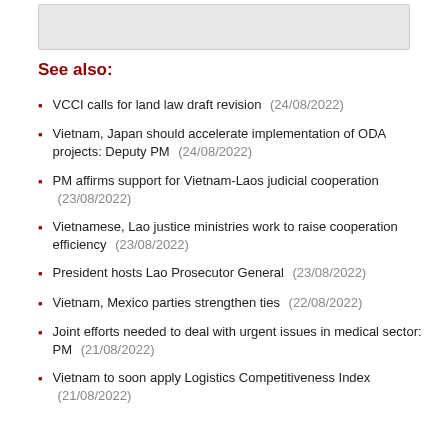See also:
VCCI calls for land law draft revision (24/08/2022)
Vietnam, Japan should accelerate implementation of ODA projects: Deputy PM (24/08/2022)
PM affirms support for Vietnam-Laos judicial cooperation (23/08/2022)
Vietnamese, Lao justice ministries work to raise cooperation efficiency (23/08/2022)
President hosts Lao Prosecutor General (23/08/2022)
Vietnam, Mexico parties strengthen ties (22/08/2022)
Joint efforts needed to deal with urgent issues in medical sector: PM (21/08/2022)
Vietnam to soon apply Logistics Competitiveness Index (21/08/2022)